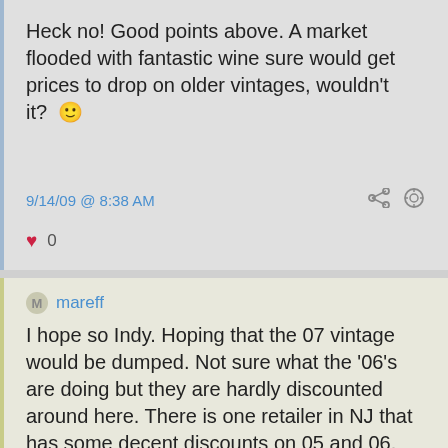Heck no! Good points above. A market flooded with fantastic wine sure would get prices to drop on older vintages, wouldn't it? 🙂
9/14/09 @ 8:38 AM
0
mareff
I hope so Indy. Hoping that the 07 vintage would be dumped. Not sure what the '06's are doing but they are hardly discounted around here. There is one retailer in NJ that has some decent discounts on 05 and 06.
Time will tell. From what I am reading, the weather